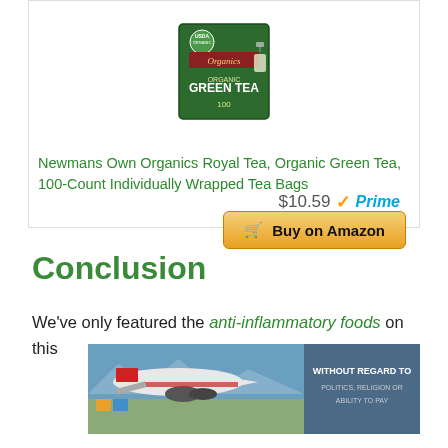[Figure (photo): Product photo of Newman's Own Organics Organic Green Tea box, 100 count]
Newmans Own Organics Royal Tea, Organic Green Tea, 100-Count Individually Wrapped Tea Bags
$10.59 ✓Prime
🛒 Buy on Amazon
Conclusion
We've only featured the anti-inflammatory foods on this
[Figure (photo): Advertisement banner showing an airplane being loaded with cargo, with text 'WITHOUT REGARD TO POLITICS, RELIGION OR ABILITY TO PAY']